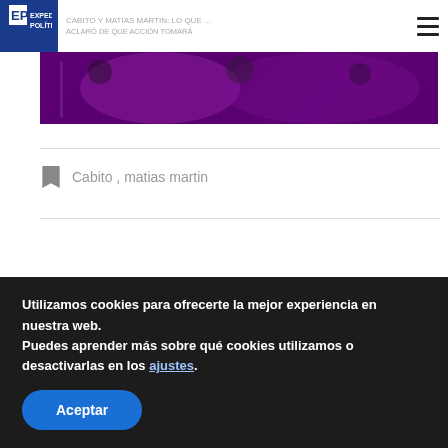EXPEDIENTE POLÍTICO
[Figure (photo): Purple/dark toned hero image of people, partially visible at top of page]
Cabito , matias martin
0 comentarios
Ordenar por
Utilizamos cookies para ofrecerte la mejor experiencia en nuestra web.
Puedes aprender más sobre qué cookies utilizamos o desactivarlas en los ajustes.
Aceptar